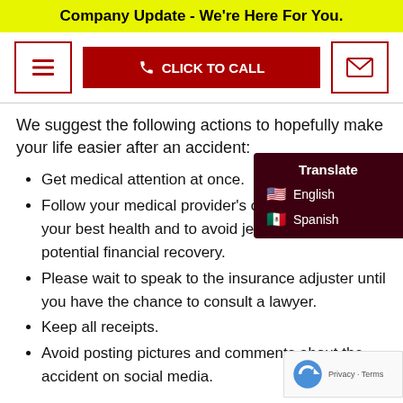Company Update - We're Here For You.
[Figure (screenshot): Navigation bar with hamburger menu button, red 'CLICK TO CALL' button with phone icon, and email envelope button]
We suggest the following actions to hopefully make your life easier after an accident:
Get medical attention at once.
Follow your medical provider's care instructions for your best health and to avoid jeopardizing your potential financial recovery.
Please wait to speak to the insurance adjuster until you have the chance to consult a lawyer.
Keep all receipts.
Avoid posting pictures and comments about the accident on social media.